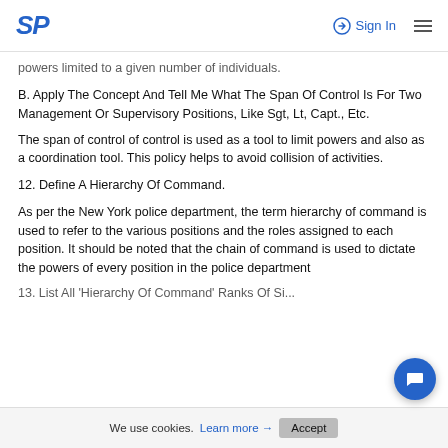SP | Sign In
powers limited to a given number of individuals.
B. Apply The Concept And Tell Me What The Span Of Control Is For Two Management Or Supervisory Positions, Like Sgt, Lt, Capt., Etc.
The span of control of control is used as a tool to limit powers and also as a coordination tool. This policy helps to avoid collision of activities.
12. Define A Hierarchy Of Command.
As per the New York police department, the term hierarchy of command is used to refer to the various positions and the roles assigned to each position. It should be noted that the chain of command is used to dictate the powers of every position in the police department
13. List All 'Hierarchy Of Command' Ranks Of Situ...